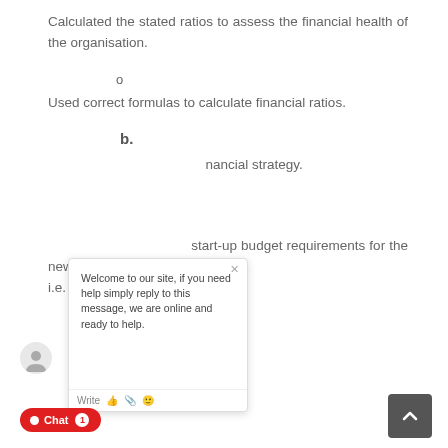Calculated the stated ratios to assess the financial health of the organisation.
o
Used correct formulas to calculate financial ratios.
b.
…nancial strategy.
…start-up budget requirements for the new market, i.e. B2B engagements.